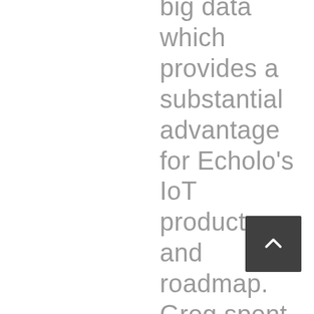big data which provides a substantial advantage for Echolo's IoT products and roadmap. Greg spent more than 10 years at the National Association of Rocketry, building guidance and avoidance systems for high powered